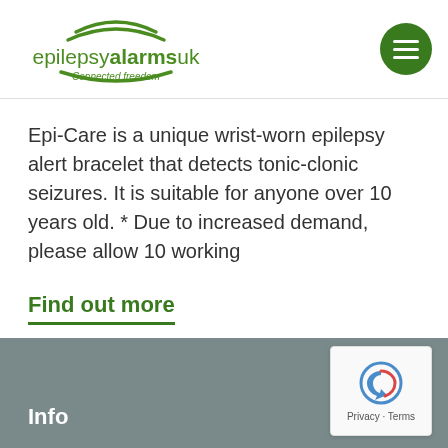[Figure (logo): Epilepsy Alarms UK logo with text 'epilepsyalarmsuk Connected freedom' in green with curved lines above]
Epi-Care is a unique wrist-worn epilepsy alert bracelet that detects tonic-clonic seizures. It is suitable for anyone over 10 years old. * Due to increased demand, please allow 10 working
Find out more
Info